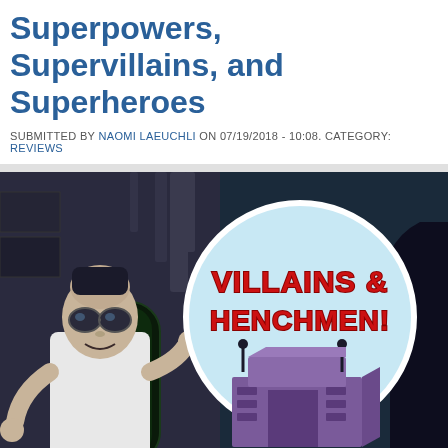Superpowers, Supervillains, and Superheroes
SUBMITTED BY NAOMI LAEUCHLI ON 07/19/2018 - 10:08. CATEGORY: REVIEWS
[Figure (illustration): Comic book illustration showing a supervillain scientist in a lab coat with goggles, with a green glowing specimen in a tube, overlaid with a circular badge reading VILLAINS & HENCHMEN! and a purple building/headquarters logo]